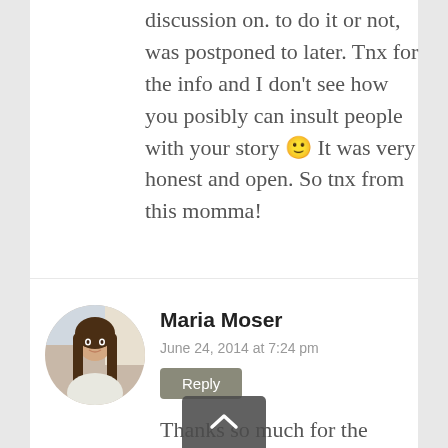discussion on. to do it or not, was postponed to later. Tnx for the info and I don't see how you posibly can insult people with your story 🙂 It was very honest and open. So tnx from this momma!
[Figure (photo): Circular avatar photo of Maria Moser, a woman with long brown hair]
Maria Moser
June 24, 2014 at 7:24 pm
Reply
Thanks so much for the comment Lev!